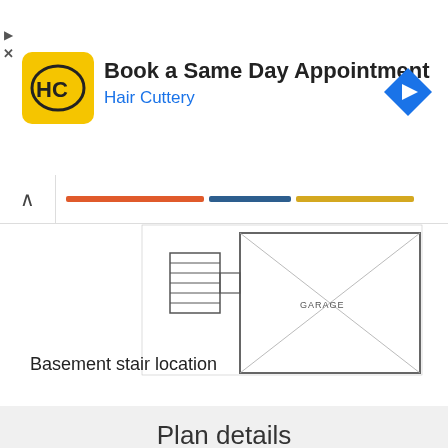[Figure (screenshot): Hair Cuttery advertisement banner with yellow logo showing 'HC', text 'Book a Same Day Appointment' and 'Hair Cuttery', and a blue navigation arrow icon on the right]
[Figure (engineering-diagram): Partial floor plan architectural drawing showing basement stair location area with garage label visible]
Basement stair location
Plan details
Square Footage Breakdown
|  |  |
| --- | --- |
| Total Heated Area: | 2,458 sq. ft. |
| 1st Floor: | 2,458 sq. ft. |